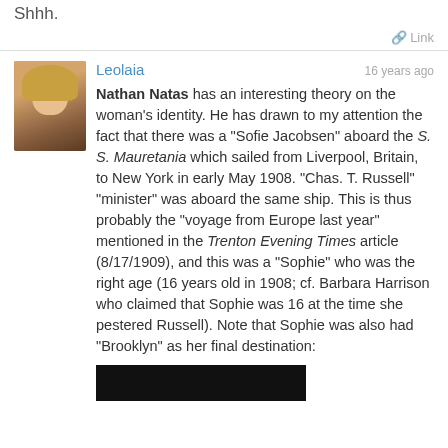Shhh.
Link
Leolaia
16 years ago
Nathan Natas has an interesting theory on the woman's identity. He has drawn to my attention the fact that there was a "Sofie Jacobsen" aboard the S. S. Mauretania which sailed from Liverpool, Britain, to New York in early May 1908. "Chas. T. Russell" "minister" was aboard the same ship. This is thus probably the "voyage from Europe last year" mentioned in the Trenton Evening Times article (8/17/1909), and this was a "Sophie" who was the right age (16 years old in 1908; cf. Barbara Harrison who claimed that Sophie was 16 at the time she pestered Russell). Note that Sophie was also had "Brooklyn" as her final destination:
[Figure (photo): Black image preview at bottom of post]